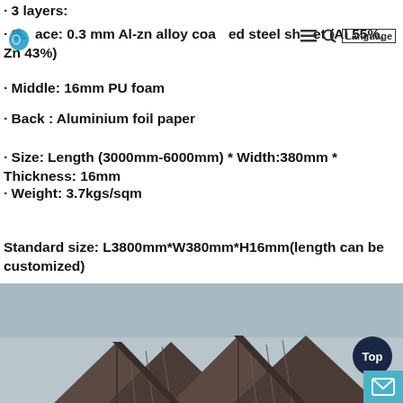· 3 layers:
· Surface: 0.3 mm Al-zn alloy coated steel sheet (Al 55%, Zn 43%)
· Middle: 16mm PU foam
· Back : Aluminium foil paper
· Size: Length (3000mm-6000mm) * Width:380mm * Thickness: 16mm
· Weight: 3.7kgs/sqm
Standard size: L3800mm*W380mm*H16mm(length can be customized)
[Figure (photo): Photo of a house with a dark metal roof, showing roofing panels installed, with a light grey/overcast sky background. A 'Top' navigation button and a mail/envelope button appear overlaid in the bottom right corner.]